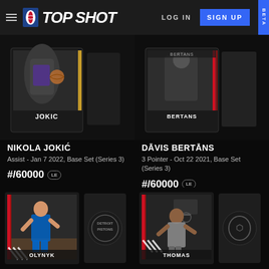NBA TOP SHOT — LOG IN | SIGN UP BETA
[Figure (screenshot): NBA Top Shot card for Nikola Jokic showing a basketball moment with player name label 'JOKIC' and gold card frame]
[Figure (screenshot): NBA Top Shot card for Davis Bertans showing a basketball moment with player name label 'BERTANS' and red card frame]
NIKOLA JOKIĆ
Assist - Jan 7 2022, Base Set (Series 3)
#/60000 LE
#641 - #59948
300 included in this drop
DĀVIS BERTĀNS
3 Pointer - Oct 22 2021, Base Set (Series 3)
#/60000 LE
#1945 - #56521
23 included in this drop
[Figure (screenshot): NBA Top Shot card for Olynyk in Detroit Pistons uniform with red-striped card and Detroit Pistons logo]
[Figure (screenshot): NBA Top Shot card for Thomas with Brooklyn Nets logo and basketball action scene]